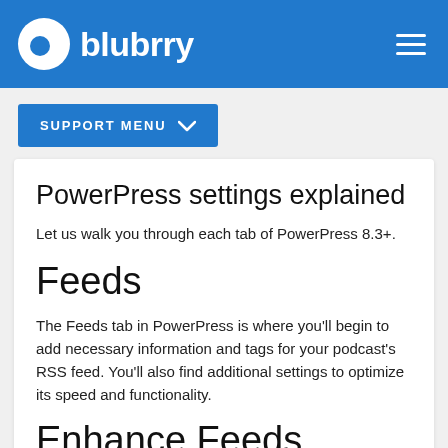blubrry
PowerPress settings explained
Let us walk you through each tab of PowerPress 8.3+.
Feeds
The Feeds tab in PowerPress is where you'll begin to add necessary information and tags for your podcast's RSS feed. You'll also find additional settings to optimize its speed and functionality.
Enhance Feeds